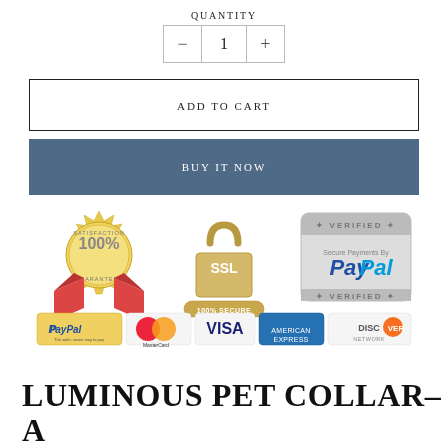QUANTITY
- 1 +
ADD TO CART
BUY IT NOW
[Figure (infographic): Trust badges: 100% Satisfaction Guaranteed seal, 256 BIT SSL 100% Secure padlock badge, Verified Secure Payments by PayPal badge, payment method logos: PayPal, MasterCard, VISA, American Express, Discover]
LUMINOUS PET COLLAR– A